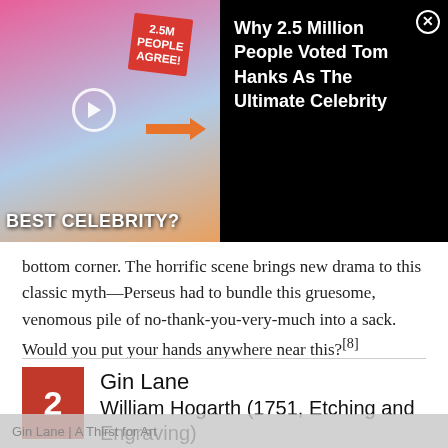[Figure (screenshot): Advertisement banner with image of two celebrities and text 'BEST CELEBRITY?' and '2.5M PEOPLE AGREE!' alongside text 'Why 2.5 Million People Voted Tom Hanks As The Ultimate Celebrity' on black background with close button]
bottom corner. The horrific scene brings new drama to this classic myth—Perseus had to bundle this gruesome, venomous pile of no-thank-you-very-much into a sack. Would you put your hands anywhere near this?[8]
2 Gin Lane
William Hogarth (1751, Etching and Engraving)
Gin Lane | A Thirst for Art